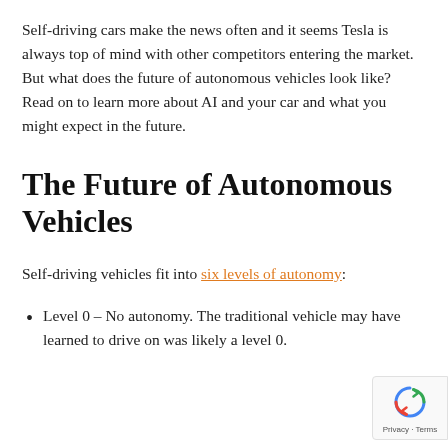Self-driving cars make the news often and it seems Tesla is always top of mind with other competitors entering the market. But what does the future of autonomous vehicles look like? Read on to learn more about AI and your car and what you might expect in the future.
The Future of Autonomous Vehicles
Self-driving vehicles fit into six levels of autonomy:
Level 0 – No autonomy. The traditional vehicle may have learned to drive on was likely a level 0.